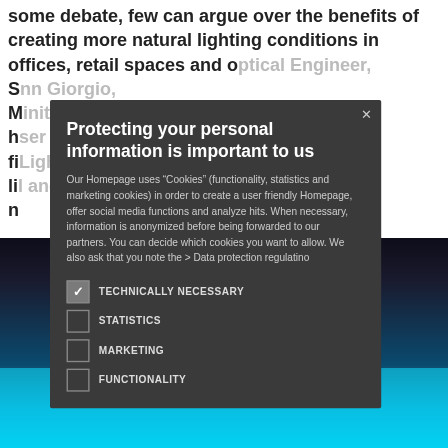some debate, few can argue over the benefits of creating more natural lighting conditions in offices, retail spaces and o... ptical Engineer, S... Ann Giorgio, M... init LLC show h... ser and direction fi... Lighting or li... l and biological n...
[Figure (screenshot): Cookie consent modal overlay on a webpage about lighting. Modal has dark background (#3a3a3a), title 'Protecting your personal information is important to us', body text about cookies and data protection, and checkboxes for TECHNICALLY NECESSARY (checked), STATISTICS, MARKETING, FUNCTIONALITY. Background shows bold text about natural lighting and a night pool photo.]
Protecting your personal information is important to us
Our Homepage uses "Cookies" (functionality, statistics and marketing cookies) in order to create a user friendly Homepage, offer social media functions and analyze hits. When necessary, information is anonymized before being forwarded to our partners. You can decide which cookies you want to allow. We also ask that you note the > Data protection regulatino
TECHNICALLY NECESSARY
STATISTICS
MARKETING
FUNCTIONALITY